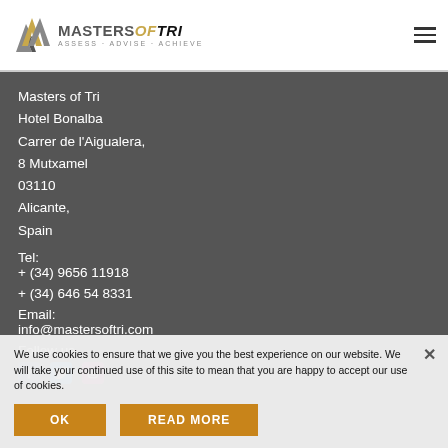Masters of Tri - ASSESS · ADVISE · ACHIEVE
Masters of Tri
Hotel Bonalba
Carrer de l'Aigualera,
8 Mutxamel
03110
Alicante,
Spain
Tel:
+ (34) 9656 11918
+ (34) 646 54 8331
Email:
info@mastersoftri.com
Follow us
[Figure (illustration): Social media icons: Facebook, Twitter, Instagram]
We use cookies to ensure that we give you the best experience on our website. We will take your continued use of this site to mean that you are happy to accept our use of cookies.